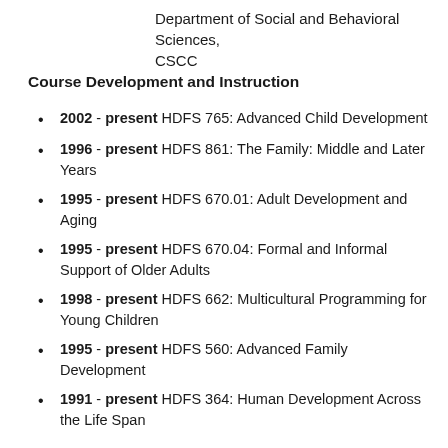Department of Social and Behavioral Sciences, CSCC
Course Development and Instruction
2002 - present HDFS 765: Advanced Child Development
1996 - present HDFS 861: The Family: Middle and Later Years
1995 - present HDFS 670.01: Adult Development and Aging
1995 - present HDFS 670.04: Formal and Informal Support of Older Adults
1998 - present HDFS 662: Multicultural Programming for Young Children
1995 - present HDFS 560: Advanced Family Development
1991 - present HDFS 364: Human Development Across the Life Span